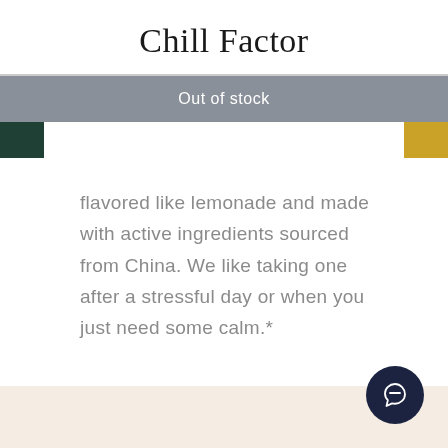Chill Factor
Out of stock
flavored like lemonade and made with active ingredients sourced from China. We like taking one after a stressful day or when you just need some calm.*
[Figure (illustration): Dark navy circular chat/message button icon with speech bubble icon in white]